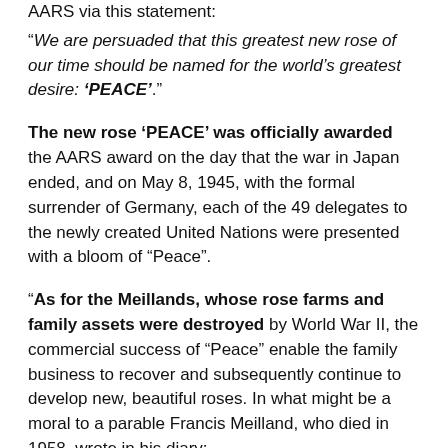AARS via this statement:
“We are persuaded that this greatest new rose of our time should be named for the world’s greatest desire: ‘PEACE’.”
The new rose ‘PEACE’ was officially awarded the AARS award on the day that the war in Japan ended, and on May 8, 1945, with the formal surrender of Germany, each of the 49 delegates to the newly created United Nations were presented with a bloom of “Peace”.
“As for the Meillands, whose rose farms and family assets were destroyed by World War II, the commercial success of “Peace” enable the family business to recover and subsequently continue to develop new, beautiful roses. In what might be a moral to a parable Francis Meilland, who died in 1958, wrote in his diary: ‘How strange to think that all these millions of rose bushes